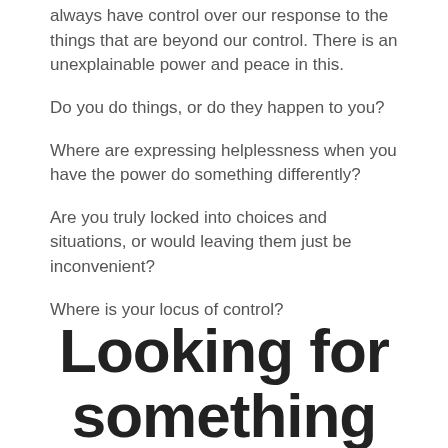always have control over our response to the things that are beyond our control. There is an unexplainable power and peace in this.
Do you do things, or do they happen to you?
Where are expressing helplessness when you have the power do something differently?
Are you truly locked into choices and situations, or would leaving them just be inconvenient?
Where is your locus of control?
Looking for something